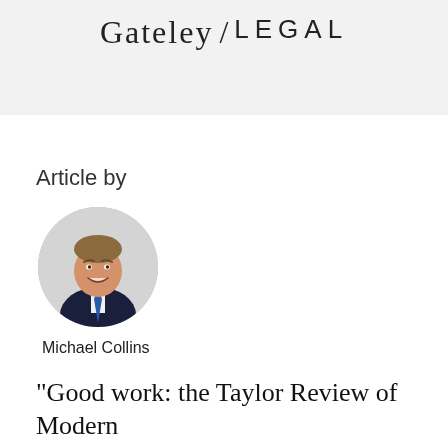Gateley / LEGAL
Article by
[Figure (photo): Circular headshot photo of Michael Collins, a man in a dark suit with a blue tie, smiling, against a light grey background]
Michael Collins
“Good work: the Taylor Review of Modern